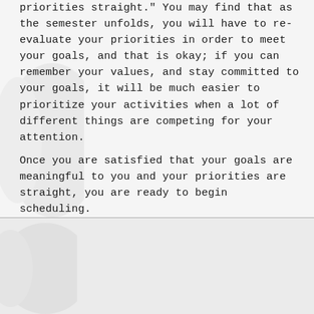priorities straight." You may find that as the semester unfolds, you will have to re-evaluate your priorities in order to meet your goals, and that is okay; if you can remember your values, and stay committed to your goals, it will be much easier to prioritize your activities when a lot of different things are competing for your attention.
Once you are satisfied that your goals are meaningful to you and your priorities are straight, you are ready to begin scheduling.
Scheduling